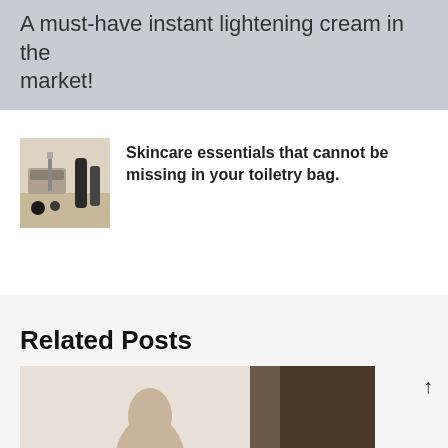A must-have instant lightening cream in the market!
[Figure (photo): Thumbnail image of skincare/cosmetics products laid out on a surface]
Skincare essentials that cannot be missing in your toiletry bag.
Related Posts
[Figure (photo): Photo showing a person's head/face and a dark brown product, partially visible at bottom of page]